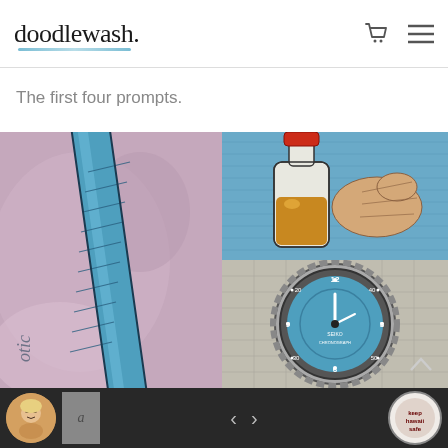doodlewash.
The first four prompts.
[Figure (illustration): Collage of four watercolor/ink sketch illustrations: top-left shows a blue pen/marker on pink-purple watercolor background; top-right shows a bottle of liquid with red cap and golden liquid inside, held by a hand, with blue background; bottom-right shows a blue wristwatch face (Seiko-style dive watch) viewed from above on a grid background. A nav arrow chevron is visible. Bottom strip shows navigation thumbnails with left/right arrows and circular portrait thumbnails.]